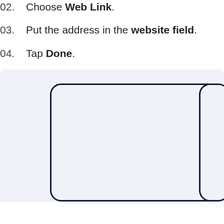02.  Choose Web Link.
03.  Put the address in the website field.
04.  Tap Done.
[Figure (screenshot): Screenshot area showing two phone/tablet UI cards side by side on a light gray background. The left card is a rounded rectangle with a dark navy border. The right card is partially visible at the right edge.]